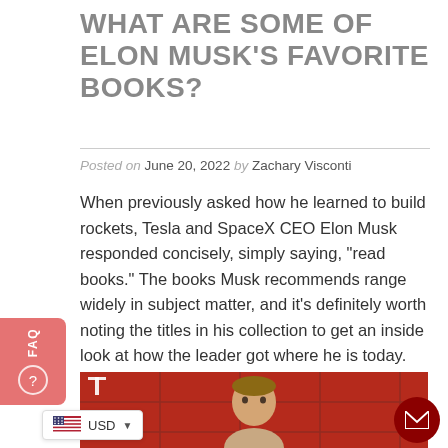WHAT ARE SOME OF ELON MUSK'S FAVORITE BOOKS?
Posted on June 20, 2022 by Zachary Visconti
When previously asked how he learned to build rockets, Tesla and SpaceX CEO Elon Musk responded concisely, simply saying, “read books.” The books Musk recommends range widely in subject matter, and it’s definitely worth noting the titles in his collection to get an inside look at how the leader got where he is today.
[Figure (photo): Photo of Elon Musk in front of a red Tesla background with grid pattern, partially visible at bottom of page]